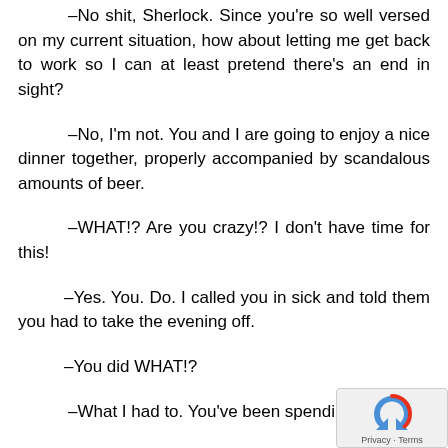–No shit, Sherlock. Since you're so well versed on my current situation, how about letting me get back to work so I can at least pretend there's an end in sight?
–No, I'm not. You and I are going to enjoy a nice dinner together, properly accompanied by scandalous amounts of beer.
–WHAT!? Are you crazy!? I don't have time for this!
–Yes. You. Do. I called you in sick and told them you had to take the evening off.
–You did WHAT!?
–What I had to. You've been spending so